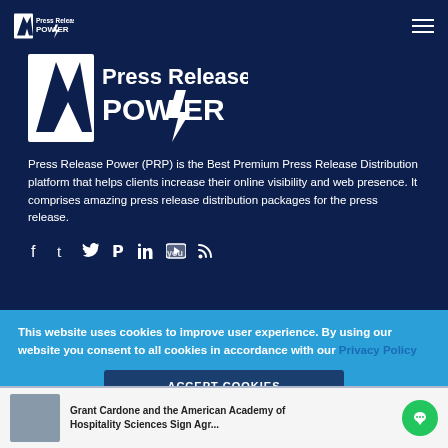[Figure (logo): Press Release Power small logo with lightning bolt icon in dark navy header]
[Figure (logo): Press Release Power large logo with lightning bolt icon, white text on dark navy background]
Press Release Power (PRP) is the Best Premium Press Release Distribution platform that helps clients increase their online visibility and web presence. It comprises amazing press release distribution packages for the press release.
[Figure (infographic): Social media icons row: Facebook, Tumblr, Twitter, Pinterest, LinkedIn, YouTube, RSS feed]
This website uses cookies to improve user experience. By using our website you consent to all cookies in accordance with our Privacy Policy
ACCEPT COOKIES
Grant Cardone and the American Academy of Hospitality Sciences Sign Agr...